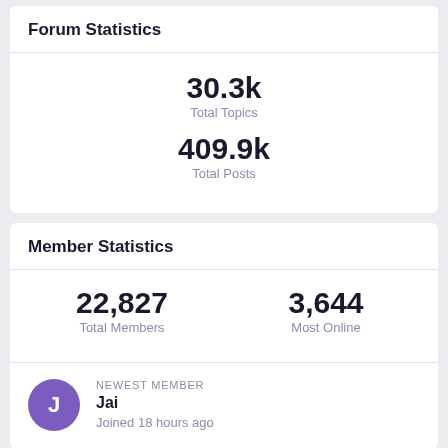Forum Statistics
30.3k Total Topics 409.9k Total Posts
Member Statistics
22,827 Total Members | 3,644 Most Online
NEWEST MEMBER Jai Joined 18 hours ago